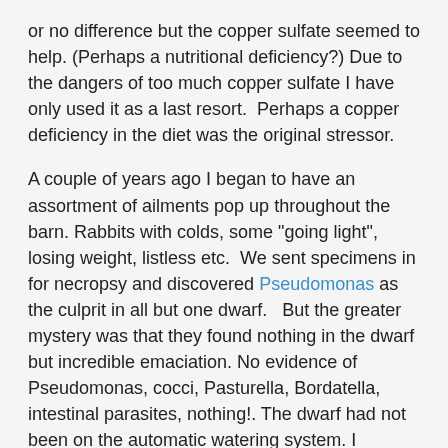or no difference but the copper sulfate seemed to help. (Perhaps a nutritional deficiency?) Due to the dangers of too much copper sulfate I have only used it as a last resort.  Perhaps a copper deficiency in the diet was the original stressor.
A couple of years ago I began to have an assortment of ailments pop up throughout the barn. Rabbits with colds, some "going light", losing weight, listless etc.  We sent specimens in for necropsy and discovered Pseudomonas as the culprit in all but one dwarf.   But the greater mystery was that they found nothing in the dwarf but incredible emaciation. No evidence of Pseudomonas, cocci, Pasturella, Bordatella, intestinal parasites, nothing!. The dwarf had not been on the automatic watering system. I insisted that they had overlooked something and asked them to go over the dwarf again and